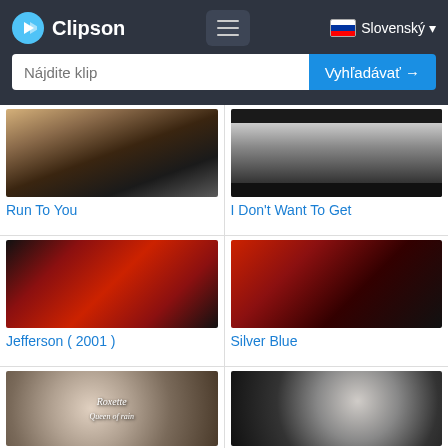Clipson — Nájdite klip | Vyhľadávať → | Slovenský
[Figure (screenshot): Music clip thumbnail for Run To You — two people, 80s style portrait]
Run To You
[Figure (screenshot): Music clip thumbnail for I Don't Want To Get — two people in dark clothing]
I Don't Want To Get
[Figure (screenshot): Music clip thumbnail for Jefferson (2001) — album art with person on dark red background]
Jefferson ( 2001 )
[Figure (screenshot): Music clip thumbnail for Silver Blue — person sitting in red room]
Silver Blue
[Figure (screenshot): Music clip thumbnail — Roxette Queen of Rain album art, ethereal]
[Figure (screenshot): Music clip thumbnail — dark scene with bicycle silhouette]